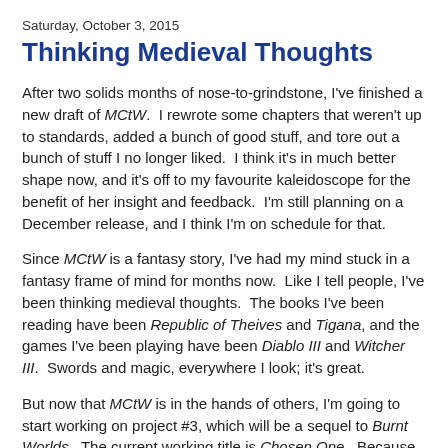Saturday, October 3, 2015
Thinking Medieval Thoughts
After two solids months of nose-to-grindstone, I've finished a new draft of MCtW.  I rewrote some chapters that weren't up to standards, added a bunch of good stuff, and tore out a bunch of stuff I no longer liked.  I think it's in much better shape now, and it's off to my favourite kaleidoscope for the benefit of her insight and feedback.  I'm still planning on a December release, and I think I'm on schedule for that.
Since MCtW is a fantasy story, I've had my mind stuck in a fantasy frame of mind for months now.  Like I tell people, I've been thinking medieval thoughts.  The books I've been reading have been Republic of Theives and Tigana, and the games I've been playing have been Diablo III and Witcher III.  Swords and magic, everywhere I look; it's great.
But now that MCtW is in the hands of others, I'm going to start working on project #3, which will be a sequel to Burnt Worlds.  The current working title is Chosen One.  Because it's science fiction, I need to force my brain to switch gears